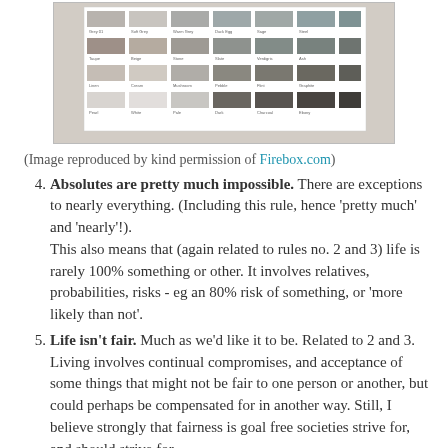[Figure (photo): Color swatch chart displayed on a white card propped against a brick wall background. The chart shows multiple rows of paint color swatches in grey, taupe, and neutral tones with small text labels.]
(Image reproduced by kind permission of Firebox.com)
4. Absolutes are pretty much impossible. There are exceptions to nearly everything. (Including this rule, hence 'pretty much' and 'nearly'!). This also means that (again related to rules no. 2 and 3) life is rarely 100% something or other. It involves relatives, probabilities, risks - eg an 80% risk of something, or 'more likely than not'.
5. Life isn't fair. Much as we'd like it to be. Related to 2 and 3. Living involves continual compromises, and acceptance of some things that might not be fair to one person or another, but could perhaps be compensated for in another way. Still, I believe strongly that fairness is goal free societies strive for, and should strive for.
Now. I consider myself to be a privacy advocate. Privacy is